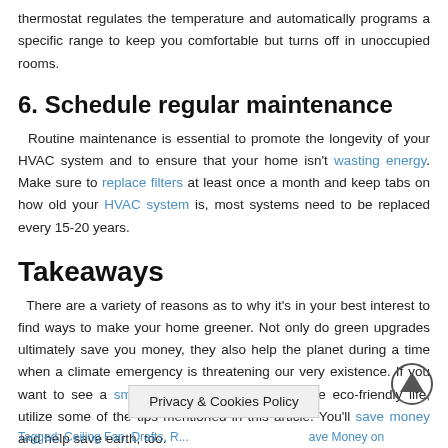thermostat regulates the temperature and automatically programs a specific range to keep you comfortable but turns off in unoccupied rooms.
6. Schedule regular maintenance
Routine maintenance is essential to promote the longevity of your HVAC system and to ensure that your home isn't wasting energy. Make sure to replace filters at least once a month and keep tabs on how old your HVAC system is, most systems need to be replaced every 15-20 years.
Takeaways
There are a variety of reasons as to why it's in your best interest to find ways to make your home greener. Not only do green upgrades ultimately save you money, they also help the planet during a time when a climate emergency is threatening our very existence. If you want to see a smaller utility bill and live a more eco-friendly life, utilize some of the tips mentioned in this article. You'll save money and help save earth, too.
Tagged: Ceiling Fan, Drafts, ... save Money on